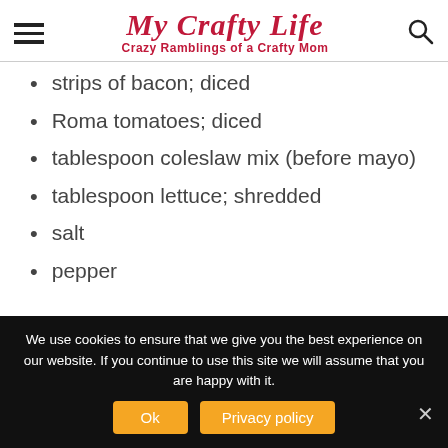My Crafty Life — Crazy Ramblings of a Crafty Mom
strips of bacon; diced
Roma tomatoes; diced
tablespoon coleslaw mix (before mayo)
tablespoon lettuce; shredded
salt
pepper
We use cookies to ensure that we give you the best experience on our website. If you continue to use this site we will assume that you are happy with it.